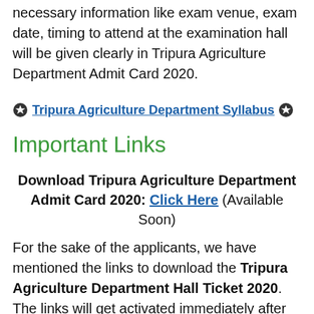necessary information like exam venue, exam date, timing to attend at the examination hall will be given clearly in Tripura Agriculture Department Admit Card 2020.
✪ Tripura Agriculture Department Syllabus ✪
Important Links
Download Tripura Agriculture Department Admit Card 2020: Click Here (Available Soon)
For the sake of the applicants, we have mentioned the links to download the Tripura Agriculture Department Hall Ticket 2020. The links will get activated immediately after the official declaration